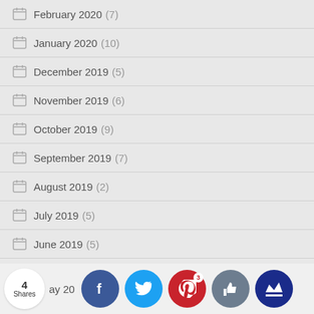February 2020 (7)
January 2020 (10)
December 2019 (5)
November 2019 (6)
October 2019 (9)
September 2019 (7)
August 2019 (2)
July 2019 (5)
June 2019 (5)
May 20... (partial, cut off)
[Figure (infographic): Social sharing bar with 4 Shares count, Facebook, Twitter, Pinterest (3), Like, and crown buttons]